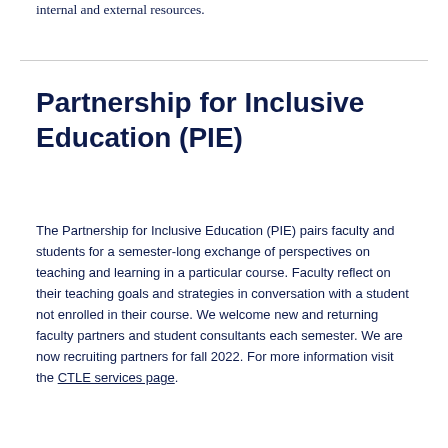internal and external resources.
Partnership for Inclusive Education (PIE)
The Partnership for Inclusive Education (PIE) pairs faculty and students for a semester-long exchange of perspectives on teaching and learning in a particular course. Faculty reflect on their teaching goals and strategies in conversation with a student not enrolled in their course. We welcome new and returning faculty partners and student consultants each semester. We are now recruiting partners for fall 2022. For more information visit the CTLE services page.